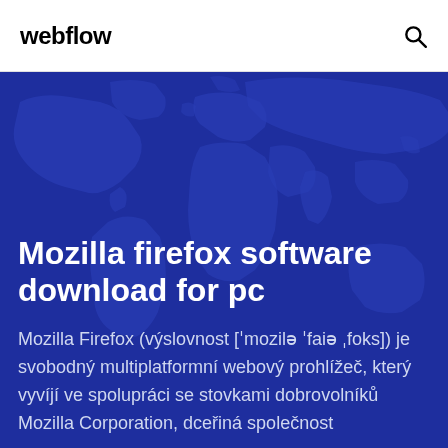webflow
[Figure (illustration): Dark blue hero section with a stylized world map silhouette in slightly lighter blue tones as background]
Mozilla firefox software download for pc
Mozilla Firefox (výslovnost ['mozilə 'faiə ˌfoks]) je svobodný multiplatformní webový prohlížeč, který vyvíjí ve spolupráci se stovkami dobrovolníků Mozilla Corporation, dceřiná společnost